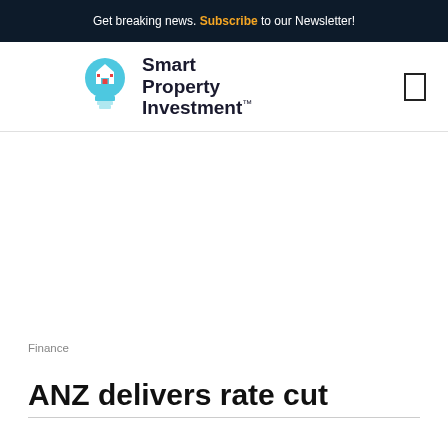Get breaking news. Subscribe to our Newsletter!
[Figure (logo): Smart Property Investment logo — light bulb icon with house silhouette in cyan/blue, beside bold text reading 'Smart Property Investment' with TM mark]
Finance
ANZ delivers rate cut